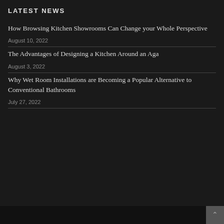LATEST NEWS
How Browsing Kitchen Showrooms Can Change your Whole Perspective
August 10, 2022
The Advantages of Designing a Kitchen Around an Aga
August 3, 2022
Why Wet Room Installations are Becoming a Popular Alternative to Conventional Bathrooms
July 27, 2022